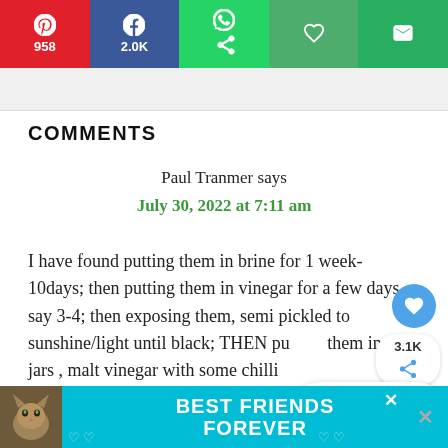[Figure (screenshot): Social share bar with Pinterest (958), Facebook (2.0K), WhatsApp, heart/save, and email buttons]
COMMENTS
Paul Tranmer says
July 30, 2022 at 7:11 am
I have found putting them in brine for 1 week- 10days; then putting them in vinegar for a few days, say 3-4; then exposing them, semi pickled to sunshine/light until black; THEN putting them in jars , malt vinegar with some chilli fl...
[Figure (screenshot): Floating share count (3.1K) and share icon button]
[Figure (screenshot): What's Next promo pill showing Crab Rolls]
[Figure (screenshot): Best Friends Forever advertisement banner with cat image at bottom of page]